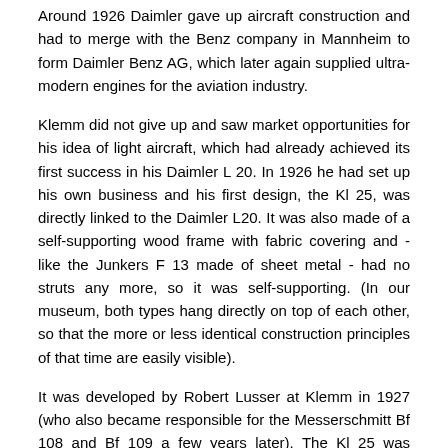Around 1926 Daimler gave up aircraft construction and had to merge with the Benz company in Mannheim to form Daimler Benz AG, which later again supplied ultra-modern engines for the aviation industry.
Klemm did not give up and saw market opportunities for his idea of light aircraft, which had already achieved its first success in his Daimler L 20. In 1926 he had set up his own business and his first design, the Kl 25, was directly linked to the Daimler L20. It was also made of a self-supporting wood frame with fabric covering and - like the Junkers F 13 made of sheet metal - had no struts any more, so it was self-supporting. (In our museum, both types hang directly on top of each other, so that the more or less identical construction principles of that time are easily visible).
It was developed by Robert Lusser at Klemm in 1927 (who also became responsible for the Messerschmitt Bf 108 and Bf 109 a few years later). The Kl 25 was developed for significantly stronger engines and thus had to be reinforced in its structure compared to the  L 20, which led to an increase in weight. If you look at it today, it appears to us like a motorized glider due to its large aspect ratio. The supporting surface consisted of a plywood-planked torsion nose at the front, everything else was